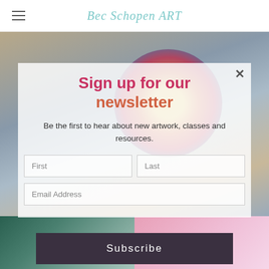Bec Schopen ART
[Figure (photo): Background photo of artwork/clothing items on a table, with a large circular graphic of a colorful car painting, partially obscured by a modal newsletter signup overlay]
Sign up for our newsletter
Be the first to hear about new artwork, classes and resources.
First  Last  Email Address
Subscribe